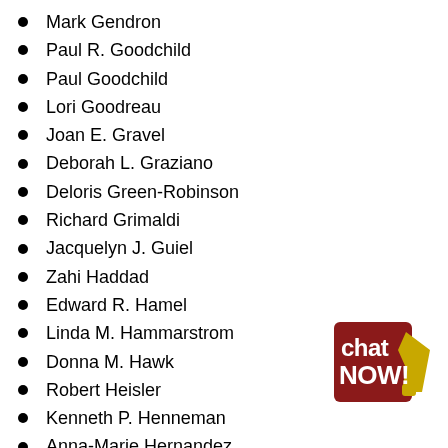Mark Gendron
Paul R. Goodchild
Paul Goodchild
Lori Goodreau
Joan E. Gravel
Deborah L. Graziano
Deloris Green-Robinson
Richard Grimaldi
Jacquelyn J. Guiel
Zahi Haddad
Edward R. Hamel
Linda M. Hammarstrom
Donna M. Hawk
Robert Heisler
Kenneth P. Henneman
Anna-Marie Hernandez
Wendell G. Hewett
Peter Hojnoski
Cheryl M. Hopson
[Figure (logo): Chat NOW! logo — dark red/maroon square background with white bold text 'chat' on top line and 'NOW!' on lower line, with a gold/yellow exclamation mark shape on the right side]